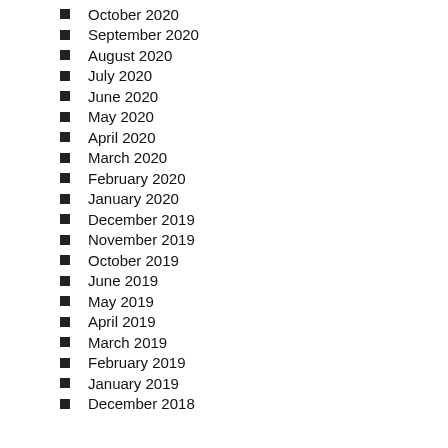October 2020
September 2020
August 2020
July 2020
June 2020
May 2020
April 2020
March 2020
February 2020
January 2020
December 2019
November 2019
October 2019
June 2019
May 2019
April 2019
March 2019
February 2019
January 2019
December 2018